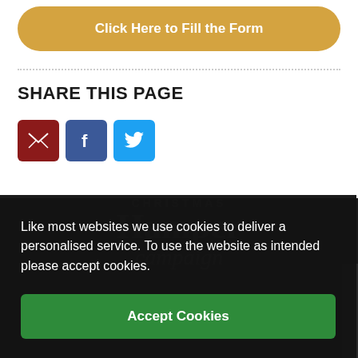Click Here to Fill the Form
SHARE THIS PAGE
[Figure (infographic): Social share icons: email (dark red), Facebook (blue), Twitter (light blue)]
Like most websites we use cookies to deliver a personalised service. To use the website as intended please accept cookies.
Accept Cookies